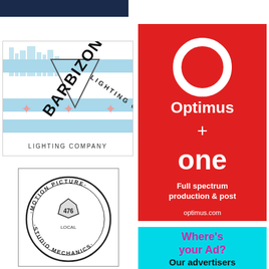[Figure (logo): Dark navy blue rectangle banner at top left]
[Figure (logo): Barbizon Lighting Company logo with Chicago skyline and flag motif]
[Figure (logo): Optimus + One red advertisement: Full spectrum production & post, optimus.com]
[Figure (logo): Motion Picture Studio Mechanics union logo badge, local 476]
[Figure (infographic): Cyan advertisement: Where's your Ad? Our advertisers...]